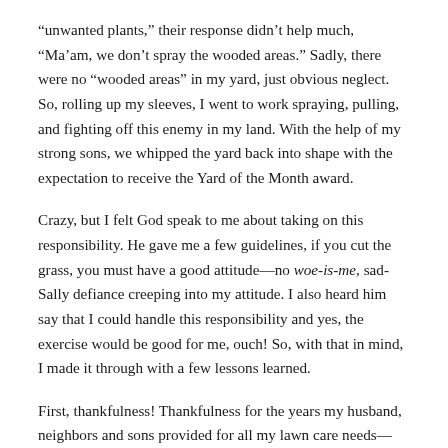“unwanted plants,” their response didn’t help much, “Ma’am, we don’t spray the wooded areas.” Sadly, there were no “wooded areas” in my yard, just obvious neglect. So, rolling up my sleeves, I went to work spraying, pulling, and fighting off this enemy in my land. With the help of my strong sons, we whipped the yard back into shape with the expectation to receive the Yard of the Month award.
Crazy, but I felt God speak to me about taking on this responsibility. He gave me a few guidelines, if you cut the grass, you must have a good attitude—no woe-is-me, sad-Sally defiance creeping into my attitude. I also heard him say that I could handle this responsibility and yes, the exercise would be good for me, ouch! So, with that in mind, I made it through with a few lessons learned.
First, thankfulness! Thankfulness for the years my husband, neighbors and sons provided for all my lawn care needs—it’s amazing how a little hands-on work will amp up your appreciation. Second, I learned that I CAN cut the grass and I can like it! (It’s really not much harder than vacuuming the house, but oh for